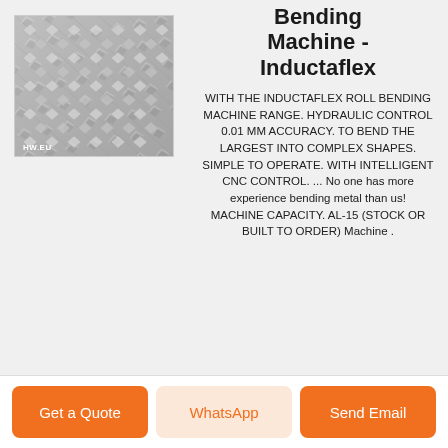[Figure (photo): Diamond plate aluminum sheet metal texture, gray checkered pattern, with HW.EU watermark label in bottom left corner]
Aluminium Bending Machine - Inductaflex
WITH THE INDUCTAFLEX ROLL BENDING MACHINE RANGE. HYDRAULIC CONTROL 0.01 MM ACCURACY. TO BEND THE LARGEST INTO COMPLEX SHAPES. SIMPLE TO OPERATE. WITH INTELLIGENT CNC CONTROL. ... No one has more experience bending metal than us! MACHINE CAPACITY. AL-15 (STOCK OR BUILT TO ORDER) Machine .
Get a Quote
WhatsApp
Send Email